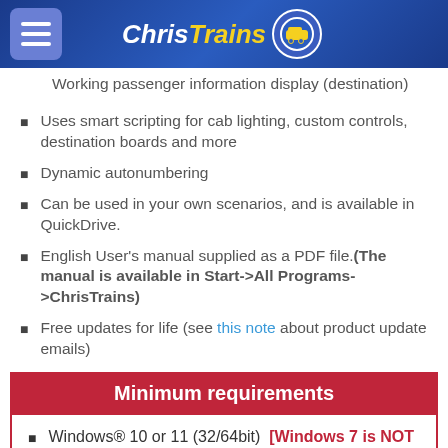ChrisTrains
Working passenger information display (destination)
Uses smart scripting for cab lighting, custom controls, destination boards and more
Dynamic autonumbering
Can be used in your own scenarios, and is available in QuickDrive.
English User's manual supplied as a PDF file.(The manual is available in Start->All Programs->ChrisTrains)
Free updates for life (see this note about product update emails)
Minimum requirements
Windows® 10 or 11 (32/64bit) [Windows 7 is NOT supported]